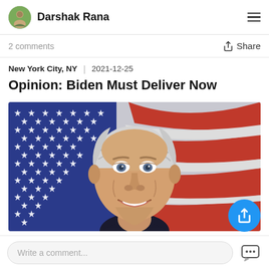Darshak Rana
2 comments
Share
New York City, NY  |  2021-12-25
Opinion: Biden Must Deliver Now
[Figure (illustration): Illustrated portrait of Joe Biden smiling, set against a stylized American flag background with blue field of white stars on the left and red and white stripes on the right, in a painterly/digital art style.]
Write a comment...